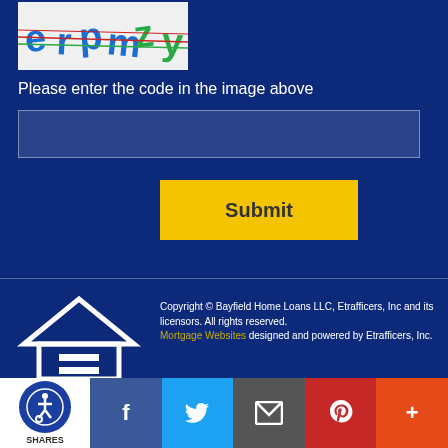[Figure (illustration): CAPTCHA image showing distorted text characters 'erpmzy' with colored strikethrough lines on white background]
Please enter the code in the image above
[Figure (other): Text input field for CAPTCHA entry]
[Figure (other): Yellow Submit button]
[Figure (logo): Equal Housing Opportunity logo - white house outline with equal sign]
Copyright © Bayfield Home Loans LLC, Etrafficers, Inc and its licensors. All rights reserved. Mortgage Websites designed and powered by Etrafficers, Inc.
[Figure (other): Social sharing bar with accessibility icon, Facebook, Twitter, Email, Pinterest, and More buttons]